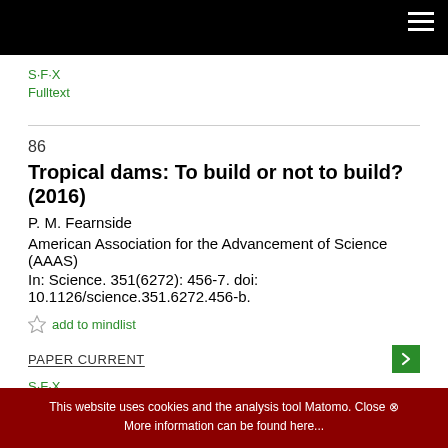S·F·X
Fulltext
86
Tropical dams: To build or not to build? (2016)
P. M. Fearnside
American Association for the Advancement of Science (AAAS)
In: Science. 351(6272): 456-7. doi: 10.1126/science.351.6272.456-b.
add to mindlist
PAPER CURRENT
S·F·X
Fulltext
This website uses cookies and the analysis tool Matomo. Close ⊗ More information can be found here...